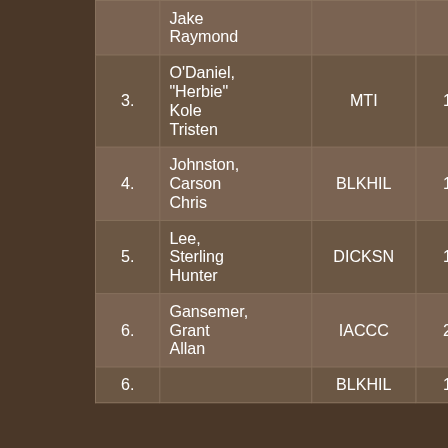| # | Name | Org | Score |
| --- | --- | --- | --- |
|  | Jake
Raymond |  |  |
| 3. | O'Daniel, "Herbie"
Kole
Tristen | MTI | 14.4 |
| 4. | Johnston, Carson
Chris | BLKHIL | 13.4 |
| 5. | Lee, Sterling
Hunter | DICKSN | 15.2 |
| 6. | Gansemer, Grant
Allan | IACCC | 20.1 |
| 6. | ... | BLKHIL | 13.1 |